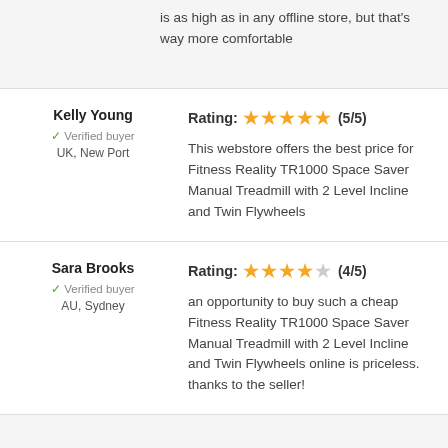is as high as in any offline store, but that's way more comfortable
Kelly Young
✓ Verified buyer
UK, New Port
Rating: ★★★★★ (5/5)
This webstore offers the best price for Fitness Reality TR1000 Space Saver Manual Treadmill with 2 Level Incline and Twin Flywheels
Sara Brooks
✓ Verified buyer
AU, Sydney
Rating: ★★★★☆ (4/5)
an opportunity to buy such a cheap Fitness Reality TR1000 Space Saver Manual Treadmill with 2 Level Incline and Twin Flywheels online is priceless. thanks to the seller!